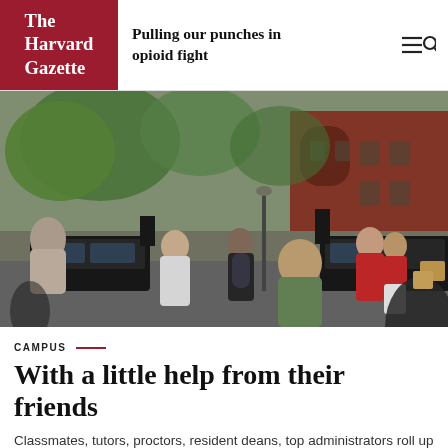The Harvard Gazette
Pulling our punches in opioid fight
[Figure (photo): Busy street scene of Harvard move-in day with students, families, and staff carrying boxes and bags along a tree-lined street with red brick buildings in background]
CAMPUS
With a little help from their friends
Classmates, tutors, proctors, resident deans, top administrators roll up sleeves to help first-years, families move in